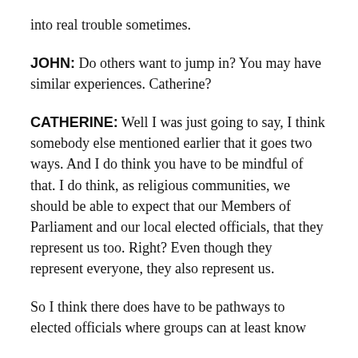into real trouble sometimes.
JOHN: Do others want to jump in? You may have similar experiences. Catherine?
CATHERINE: Well I was just going to say, I think somebody else mentioned earlier that it goes two ways. And I do think you have to be mindful of that. I do think, as religious communities, we should be able to expect that our Members of Parliament and our local elected officials, that they represent us too. Right? Even though they represent everyone, they also represent us.
So I think there does have to be pathways to elected officials where groups can at least know